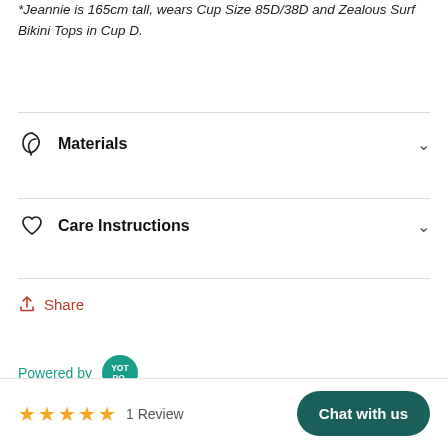*Jeannie is 165cm tall, wears Cup Size 85D/38D and Zealous Surf Bikini Tops in Cup D.
Materials
Care Instructions
Share
Powered by YOTPO.
★★★★★ 1 Review
Chat with us